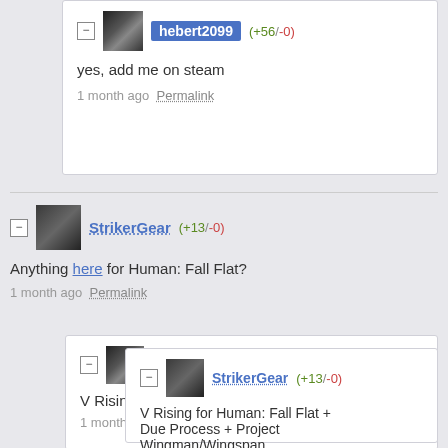hebert2099 (+56/-0) yes, add me on steam 1 month ago Permalink
StrikerGear (+13/-0) Anything here for Human: Fall Flat? 1 month ago Permalink
hebert2099 (+56/-0) V Rising 1 month ago Permalink
StrikerGear (+13/-0) V Rising for Human: Fall Flat + Due Process + Project Wingman/Wingspan 1 month ago Permalink